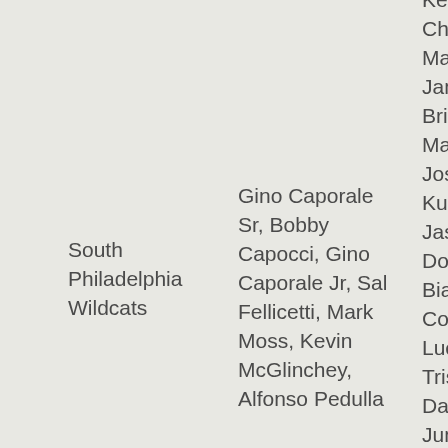Kevin Bollard, Christian Fantazzi, Matthew Flood, James Fratantoni, Brianna Cimini, Maria Guarino, Joseph Keyser, Izzy Kurtz, Nicky Lynch, Jasmin Marin, Domini Mecca, Bianca Pedulla, Corbin Petrowsky, Luciano Procopio, Tristian Richetti, Dante Rodgers, June Ruffenach, Briana Saunders, Christopher Sforra
South Philadelphia Wildcats
Gino Caporale Sr, Bobby Capocci, Gino Caporale Jr, Sal Fellicetti, Mark Moss, Kevin McGlinchey, Alfonso Pedulla